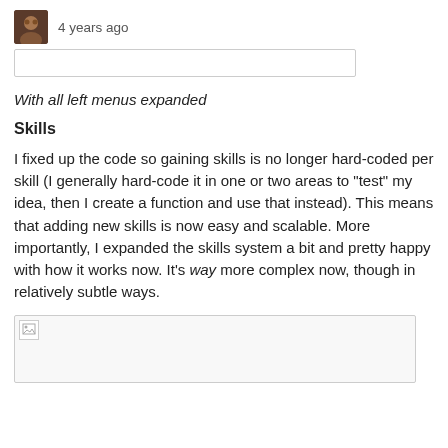4 years ago
With all left menus expanded
Skills
I fixed up the code so gaining skills is no longer hard-coded per skill (I generally hard-code it in one or two areas to "test" my idea, then I create a function and use that instead). This means that adding new skills is now easy and scalable. More importantly, I expanded the skills system a bit and pretty happy with how it works now. It's way more complex now, though in relatively subtle ways.
[Figure (photo): Broken image placeholder in a bordered box]